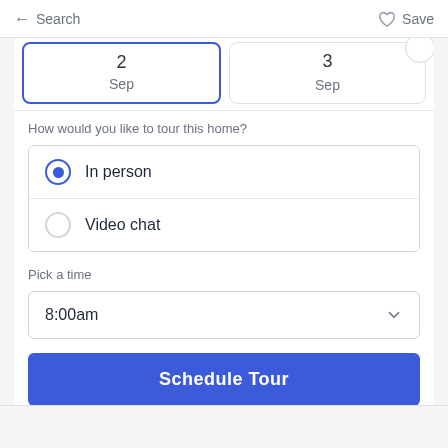Search | Save
[Figure (screenshot): Partially visible date selector showing two date boxes each labeled 'Sep', one selected with blue border]
How would you like to tour this home?
In person (selected)
Video chat
Pick a time
8:00am
Schedule Tour
It's free, with no obligation - cancel anytime.